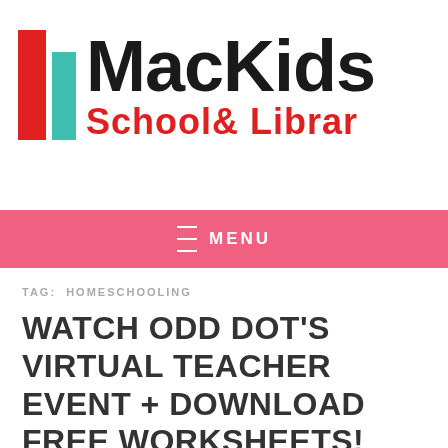[Figure (logo): MacKids School & Library logo with red and teal vertical bars followed by MacKids text in black and School & Library text in red]
MENU
TAG: HOMESCHOOLING
WATCH ODD DOT'S VIRTUAL TEACHER EVENT + DOWNLOAD FREE WORKSHEETS!
November 19, 2020